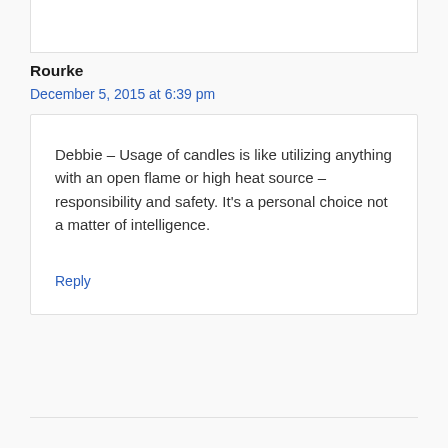Rourke
December 5, 2015 at 6:39 pm
Debbie – Usage of candles is like utilizing anything with an open flame or high heat source – responsibility and safety. It's a personal choice not a matter of intelligence.
Reply